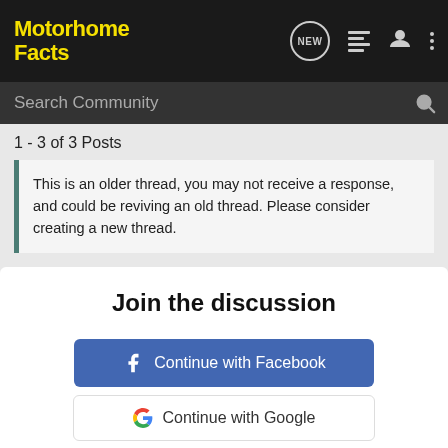Motorhome Facts
Search Community
1 - 3 of 3 Posts
This is an older thread, you may not receive a response, and could be reviving an old thread. Please consider creating a new thread.
Join the discussion
Continue with Facebook
Continue with Google
[Figure (infographic): GEICO advertisement banner: RV image on left with text ENJOYMENT MADE EASY, right side orange with GET STARTED GEICO FOR YOUR RV]